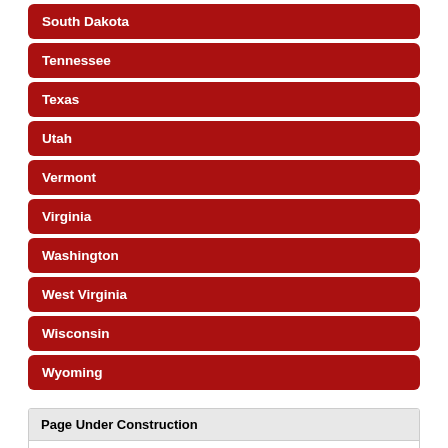South Dakota
Tennessee
Texas
Utah
Vermont
Virginia
Washington
West Virginia
Wisconsin
Wyoming
Page Under Construction
The Voting & Election Toolkit for Louisiana is currently under construction. Check back in the weeks ahead for updates to this guide. If you have